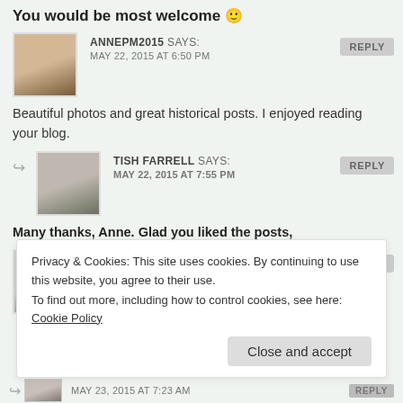You would be most welcome 🙂
ANNEPM2015 SAYS: MAY 22, 2015 AT 6:50 PM
Beautiful photos and great historical posts. I enjoyed reading your blog.
TISH FARRELL SAYS: MAY 22, 2015 AT 7:55 PM
Many thanks, Anne. Glad you liked the posts,
OLDENGRAY SAYS: MAY 23, 2015 AT 6:24 AM
Privacy & Cookies: This site uses cookies. By continuing to use this website, you agree to their use. To find out more, including how to control cookies, see here: Cookie Policy
Close and accept
MAY 23, 2015 AT 7:23 AM